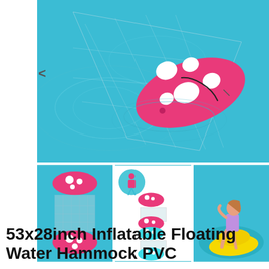[Figure (photo): Aerial view of a pink inflatable floating water hammock with white polka dots on a blue pool water surface, with mesh netting visible]
[Figure (photo): Top-down view of pink polka dot inflatable hammock float on blue pool water]
[Figure (illustration): Product diagram showing color variants of inflatable hammock: pink, blue, and yellow with mesh netting sections]
[Figure (photo): Woman in bikini sitting on a yellow inflatable pool float in blue water]
53x28inch Inflatable Floating Water Hammock PVC